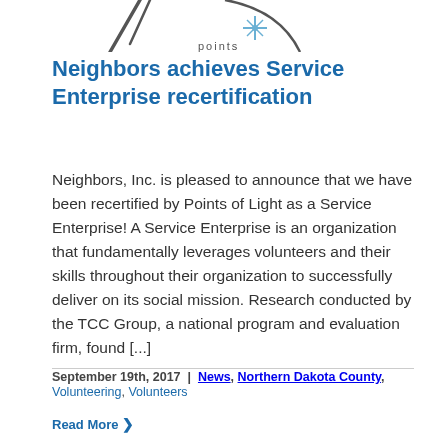[Figure (logo): Partial view of Points of Light logo — circular emblem with star/snowflake graphic and 'points' text visible at bottom, partially cropped at top of page]
Neighbors achieves Service Enterprise recertification
Neighbors, Inc. is pleased to announce that we have been recertified by Points of Light as a Service Enterprise! A Service Enterprise is an organization that fundamentally leverages volunteers and their skills throughout their organization to successfully deliver on its social mission. Research conducted by the TCC Group, a national program and evaluation firm, found [...]
September 19th, 2017  |  News, Northern Dakota County, Volunteering, Volunteers
Read More